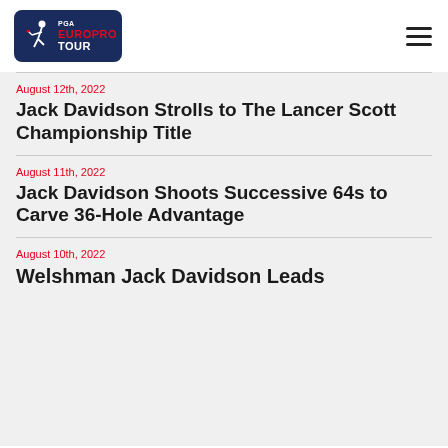PGA EuroPro Tour
August 12th, 2022
Jack Davidson Strolls to The Lancer Scott Championship Title
August 11th, 2022
Jack Davidson Shoots Successive 64s to Carve 36-Hole Advantage
August 10th, 2022
Welshman Jack Davidson Leads